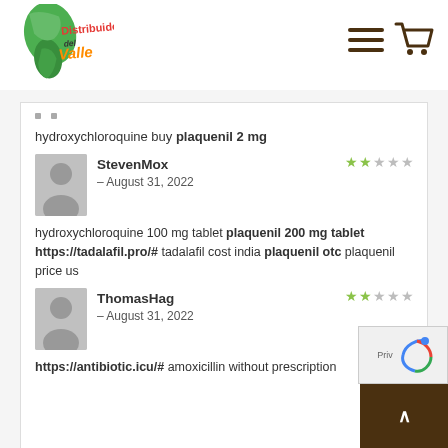[Figure (logo): Distribuidora del Valle logo with green Americas map silhouette and red/orange text]
[Figure (other): Hamburger menu icon and shopping cart icon in dark brown]
hydroxychloroquine buy plaquenil 2 mg
[Figure (other): Gray avatar silhouette for StevenMox reviewer]
StevenMox – August 31, 2022
[Figure (other): 2-star rating out of 5 stars (green filled, gray empty)]
hydroxychloroquine 100 mg tablet plaquenil 200 mg tablet https://tadalafil.pro/# tadalafil cost india plaquenil otc plaquenil price us
[Figure (other): Gray avatar silhouette for ThomasHag reviewer]
ThomasHag – August 31, 2022
[Figure (other): 2-star rating out of 5 stars (green filled, gray empty)]
https://antibiotic.icu/# amoxicillin without prescription